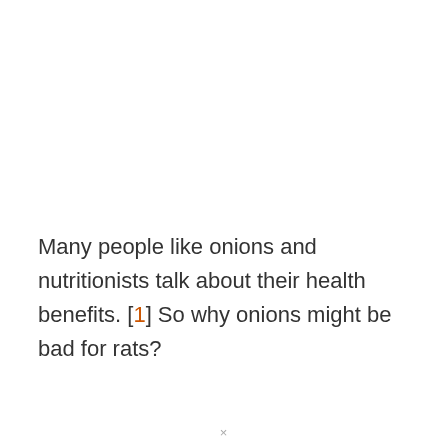Many people like onions and nutritionists talk about their health benefits. [1] So why onions might be bad for rats?
×